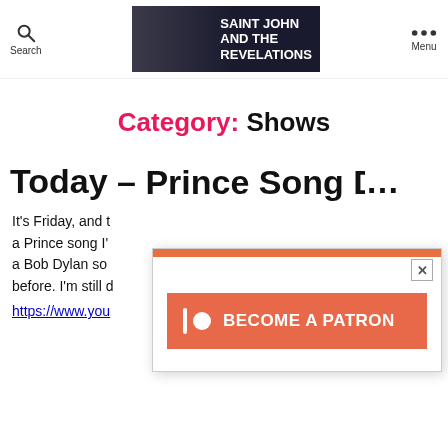Search | [Banner: SAINT JOHN AND THE REVELATIONS] | Menu
Category: Shows
Today – Prince Song Day…
It's Friday, and t… a Prince song I'… a Bob Dylan so… before. I'm still d…
https://www.you…
[Figure (screenshot): Popup overlay with orange top bar, close button (X), and a Patreon 'BECOME A PATRON' button in salmon/coral color]